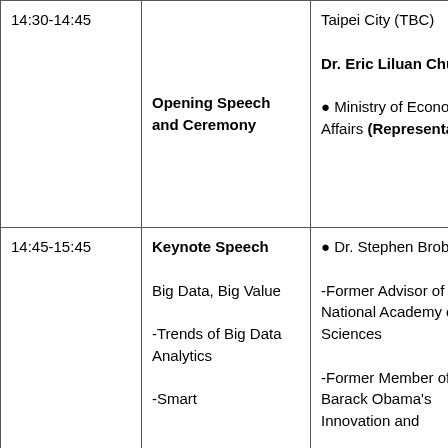| Time | Session | Speaker |
| --- | --- | --- |
| 14:30-14:45 | Opening Speech and Ceremony | Taipei City (TBC)
Dr. Eric Liluan Chu
● Ministry of Economic Affairs (Representative) |
| 14:45-15:45 | Keynote Speech
Big Data, Big Value
-Trends of Big Data Analytics
-Smart | ● Dr. Stephen Brobst
-Former Advisor of National Academy of Sciences
-Former Member of Barack Obama's Innovation and |